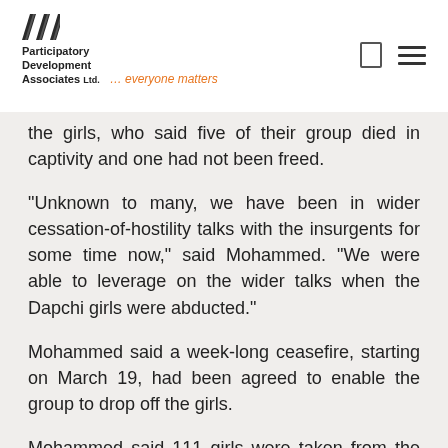Participatory Development Associates Ltd. ... everyone matters
the girls, who said five of their group died in captivity and one had not been freed.
“Unknown to many, we have been in wider cessation-of-hostility talks with the insurgents for some time now,” said Mohammed. “We were able to leverage on the wider talks when the Dapchi girls were abducted.”
Mohammed said a week-long ceasefire, starting on March 19, had been agreed to enable the group to drop off the girls.
Mohammed said 111 girls were taken from the school — one more than previously thought — and six remained unaccounted for.